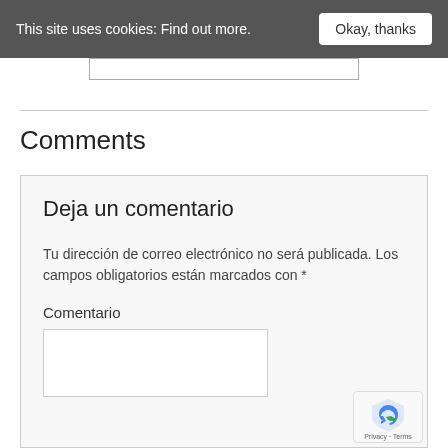This site uses cookies: Find out more.  Okay, thanks
Comments
Deja un comentario
Tu dirección de correo electrónico no será publicada. Los campos obligatorios están marcados con *
Comentario
[Figure (logo): reCAPTCHA badge with shield icon and Privacy · Terms text]